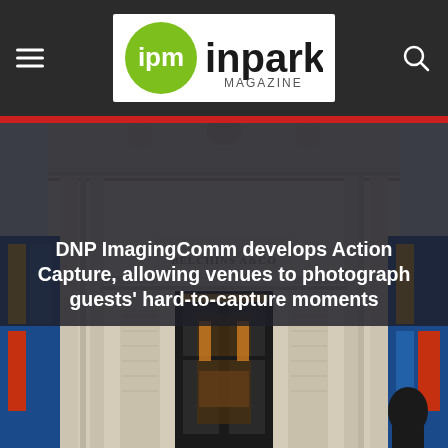ipm inpark MAGAZINE
DNP ImagingComm develops Action Capture, allowing venues to photograph guests' hard-to-capture moments
[Figure (photo): Exterior facade of an ornate classical building with decorative stonework, stained glass panels on either side, and an entrance doorway with warm interior lighting visible. A person is partially visible at lower right.]